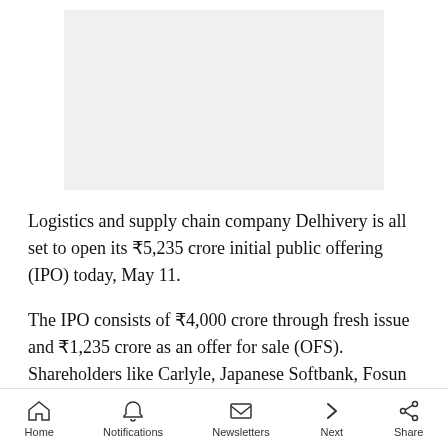[Figure (other): Advertisement placeholder image, light gray background]
Logistics and supply chain company Delhivery is all set to open its ₹5,235 crore initial public offering (IPO) today, May 11.
The IPO consists of ₹4,000 crore through fresh issue and ₹1,235 crore as an offer for sale (OFS). Shareholders like Carlyle, Japanese Softbank, Fosun group-owned China Momentum Fund and Times Internet will sell some of their shares in the IPO.
Home  Notifications  Newsletters  Next  Share